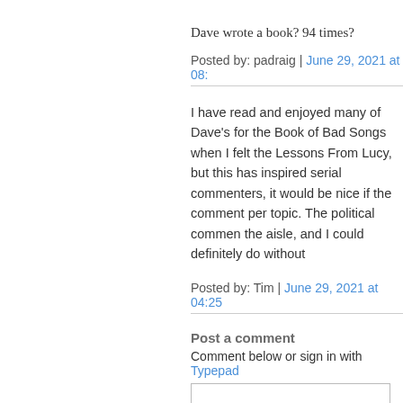Dave wrote a book? 94 times?
Posted by: padraig | June 29, 2021 at 08:
I have read and enjoyed many of Dave's for the Book of Bad Songs when I felt the Lessons From Lucy, but this has inspired serial commenters, it would be nice if they comment per topic. The political commen the aisle, and I could definitely do without
Posted by: Tim | June 29, 2021 at 04:25
Post a comment
Comment below or sign in with Typepad